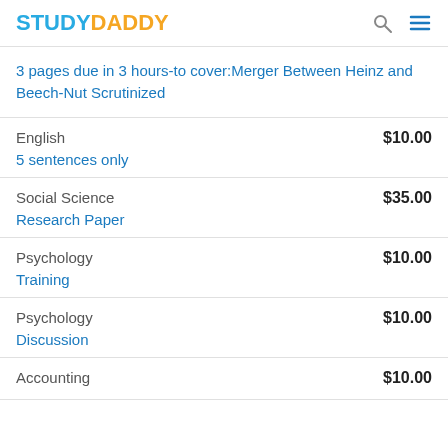STUDYDADDY
3 pages due in 3 hours-to cover:Merger Between Heinz and Beech-Nut Scrutinized
English | $10.00 | 5 sentences only
Social Science | $35.00 | Research Paper
Psychology | $10.00 | Training
Psychology | $10.00 | Discussion
Accounting | $10.00